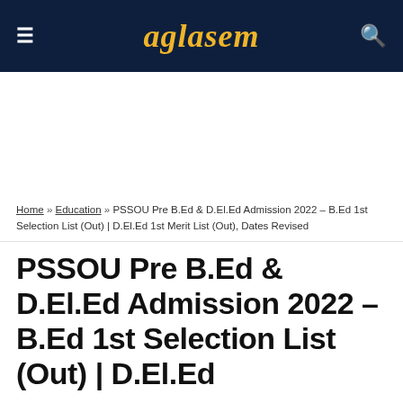aglasem
Home » Education » PSSOU Pre B.Ed & D.El.Ed Admission 2022 – B.Ed 1st Selection List (Out) | D.El.Ed 1st Merit List (Out), Dates Revised
PSSOU Pre B.Ed & D.El.Ed Admission 2022 – B.Ed 1st Selection List (Out) | D.El.Ed